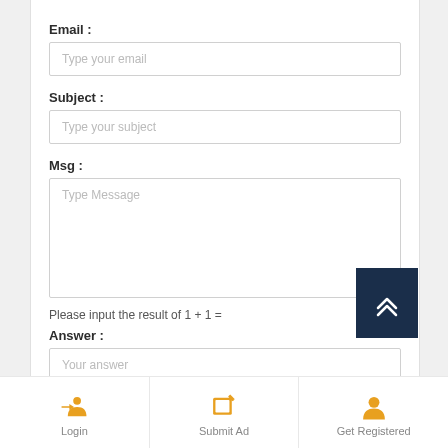Email :
Type your email
Subject :
Type your subject
Msg :
Type Message
Please input the result of 1 + 1 =
Answer :
Your answer
Login
Submit Ad
Get Registered